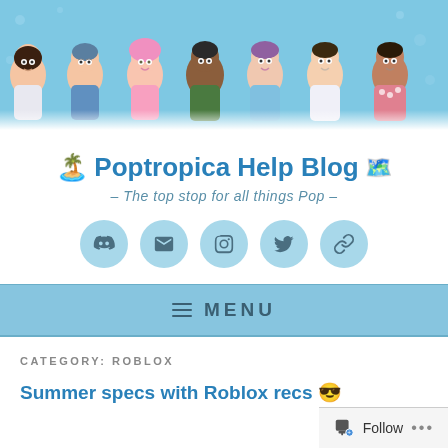[Figure (illustration): Banner with cartoon Poptropica characters on a light blue background]
🏝️ Poptropica Help Blog 🗺️
– The top stop for all things Pop –
[Figure (infographic): Five circular social media icon buttons (Discord, Email, Instagram, Twitter, Link)]
≡ MENU
CATEGORY: ROBLOX
Summer specs with Roblox recs 😎
Follow ...